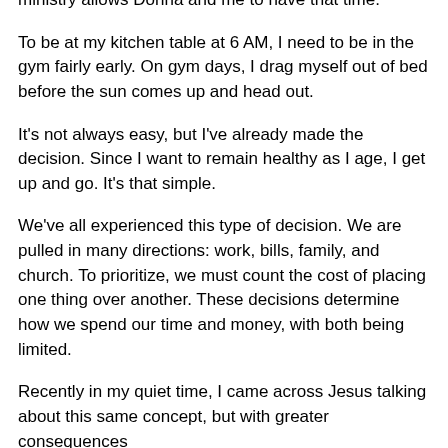ministry allows Donna and me to have that time.
To be at my kitchen table at 6 AM, I need to be in the gym fairly early. On gym days, I drag myself out of bed before the sun comes up and head out.
It's not always easy, but I've already made the decision. Since I want to remain healthy as I age, I get up and go. It's that simple.
We've all experienced this type of decision. We are pulled in many directions: work, bills, family, and church. To prioritize, we must count the cost of placing one thing over another. These decisions determine how we spend our time and money, with both being limited.
Recently in my quiet time, I came across Jesus talking about this same concept, but with greater consequences